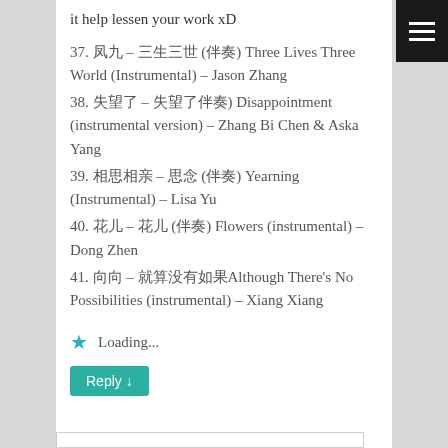it help lessen your work xD
37. 凤九 – 三生三世 (伴奏) Three Lives Three World (Instrumental) – Jason Zhang
38. 失望了 – 失望了伴奏) Disappointment (instrumental version) – Zhang Bi Chen & Aska Yang
39. 相思相亲 – 思念 (伴奏) Yearning (Instrumental) – Lisa Yu
40. 花儿 – 花儿 (伴奏) Flowers (instrumental) – Dong Zhen
41. 向向 – 就算没有如果Although There's No Possibilities (instrumental) – Xiang Xiang
Loading...
Reply ↓